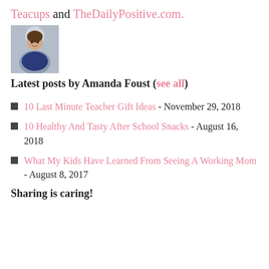Teacups and TheDailyPositive.com.
[Figure (photo): Portrait photo of Amanda Foust, a woman in a blue top, smiling, with a circular frame background]
Latest posts by Amanda Foust (see all)
10 Last Minute Teacher Gift Ideas - November 29, 2018
10 Healthy And Tasty After School Snacks - August 16, 2018
What My Kids Have Learned From Seeing A Working Mom - August 8, 2017
Sharing is caring!